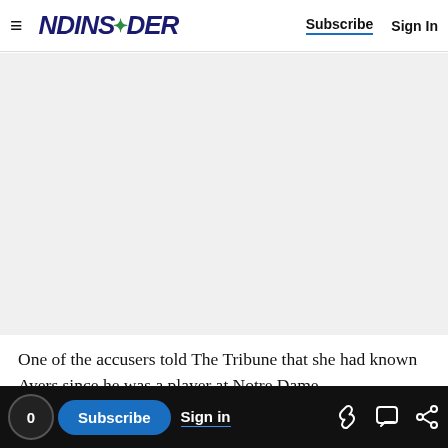NDInsider — Subscribe | Sign In
[Figure (other): Gray advertisement placeholder area]
One of the accusers told The Tribune that she had known Ayers since he was a player at Notre Dame.
0 Subscribe | Sign in | [link icon] [comment icon] [share icon]